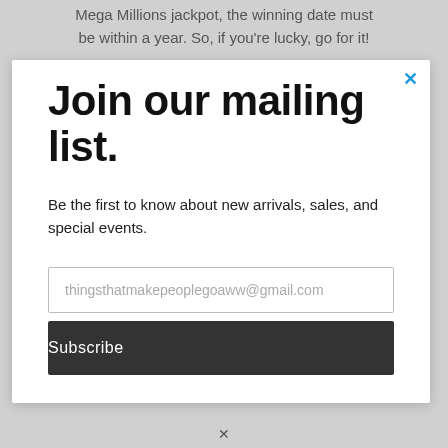Mega Millions jackpot, the winning date must be within a year. So, if you're lucky, go for it!
Join our mailing list.
Be the first to know about new arrivals, sales, and special events.
thingsthatmakepeoplegoaww@gmail.com
Subscribe